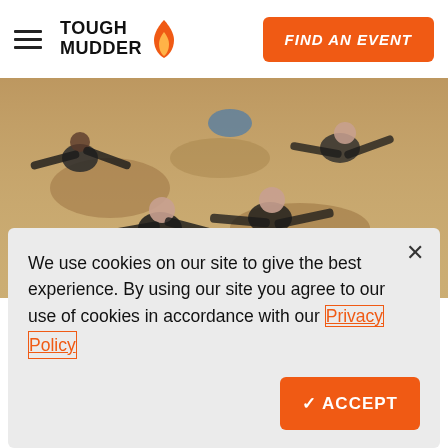TOUGH MUDDER | FIND AN EVENT
[Figure (photo): Aerial view of multiple people lying on sandy/muddy ground laughing and celebrating, arms spread out, covered in mud at a Tough Mudder event.]
We use cookies on our site to give the best experience. By using our site you agree to our use of cookies in accordance with our Privacy Policy
✓ ACCEPT